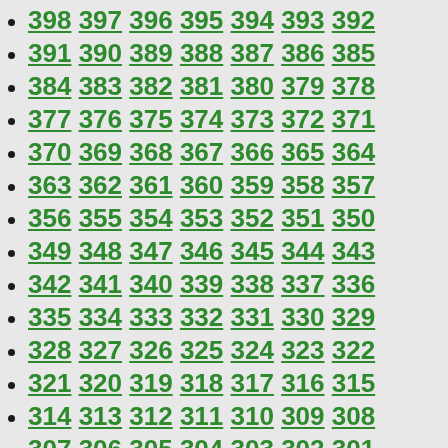398 397 396 395 394 393 392
391 390 389 388 387 386 385
384 383 382 381 380 379 378
377 376 375 374 373 372 371
370 369 368 367 366 365 364
363 362 361 360 359 358 357
356 355 354 353 352 351 350
349 348 347 346 345 344 343
342 341 340 339 338 337 336
335 334 333 332 331 330 329
328 327 326 325 324 323 322
321 320 319 318 317 316 315
314 313 312 311 310 309 308
307 306 305 304 303 302 301
299 298 297 296 295 294 293
292 291 290 289 288 287 286
285 284 283 282 281 280 279
278 277 276 275 274 273 272
271 270 269 268 267 266 265
264 263 262 261 260 259 258
257 256 255 254 253 252 251